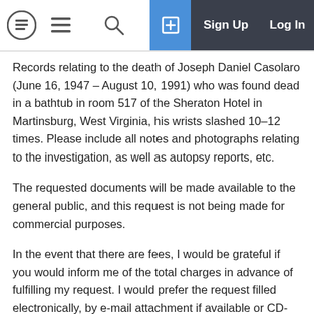Navigation bar with logo, hamburger menu, search, sign up and log in buttons
Records relating to the death of Joseph Daniel Casolaro (June 16, 1947 – August 10, 1991) who was found dead in a bathtub in room 517 of the Sheraton Hotel in Martinsburg, West Virginia, his wrists slashed 10–12 times. Please include all notes and photographs relating to the investigation, as well as autopsy reports, etc.
The requested documents will be made available to the general public, and this request is not being made for commercial purposes.
In the event that there are fees, I would be grateful if you would inform me of the total charges in advance of fulfilling my request. I would prefer the request filled electronically, by e-mail attachment if available or CD-ROM if not.
Thank you in advance for your anticipated cooperation in this matter. I look forward to receiving your response to this